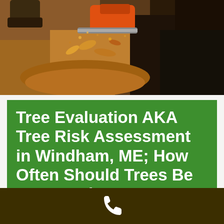[Figure (photo): Close-up photo of a chainsaw cutting through wood, with sawdust and wood chips flying, on a dark earthy background]
Tree Evaluation AKA Tree Risk Assessment in Windham, ME; How Often Should Trees Be Inspected?
You likely have had to take your car in for an inspection or maybe you have your work product
[Figure (other): Phone call icon in white on dark brown footer bar]